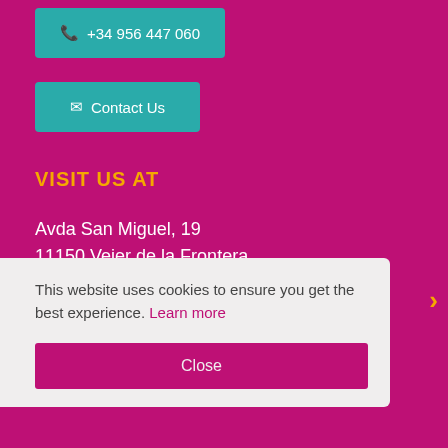📞 +34 956 447 060
✉ Contact Us
VISIT US AT
Avda San Miguel, 19
11150 Vejer de la Frontera
This website uses cookies to ensure you get the best experience. Learn more
Close